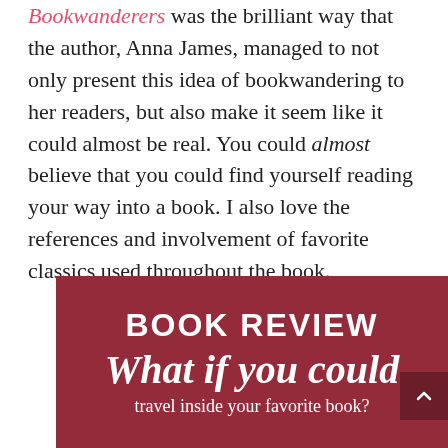Bookwanderers was the brilliant way that the author, Anna James, managed to not only present this idea of bookwandering to her readers, but also make it seem like it could almost be real. You could almost believe that you could find yourself reading your way into a book. I also love the references and involvement of favorite classics used throughout the book.
[Figure (other): Dark red/maroon banner graphic with white text: 'BOOK REVIEW' in bold uppercase, 'What if you could' in large italic script, and 'travel inside your favorite book?' in smaller text. A dark scroll-to-top button is in the bottom right corner.]